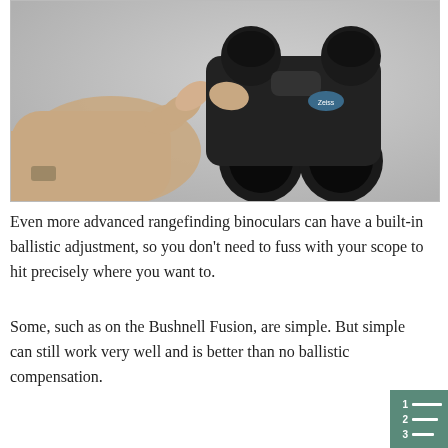[Figure (photo): A person's hand holding a pair of black Zeiss rangefinding binoculars against a light gray background. The thumb is pressing a button on the side of the binoculars.]
Even more advanced rangefinding binoculars can have a built-in ballistic adjustment, so you don't need to fuss with your scope to hit precisely where you want to.
Some, such as on the Bushnell Fusion, are simple. But simple can still work very well and is better than no ballistic compensation.